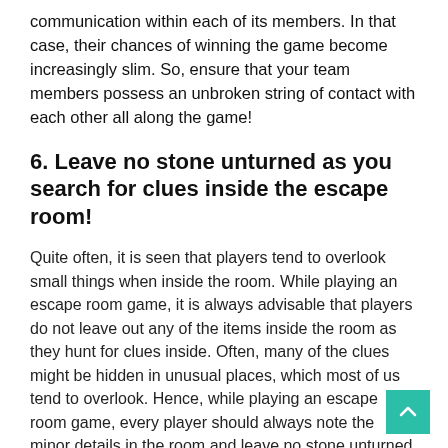communication within each of its members. In that case, their chances of winning the game become increasingly slim. So, ensure that your team members possess an unbroken string of contact with each other all along the game!
6. Leave no stone unturned as you search for clues inside the escape room!
Quite often, it is seen that players tend to overlook small things when inside the room. While playing an escape room game, it is always advisable that players do not leave out any of the items inside the room as they hunt for clues inside. Often, many of the clues might be hidden in unusual places, which most of us tend to overlook. Hence, while playing an escape room game, every player should always note the minor details in the room and leave no stone unturned as they search for clues. Many times, with the overall excitement of playing the escape room game, players tend to devote far too much time than necessary on irrelevant things in turn, lose out on their valuable time, which they could have committed elsewhere.